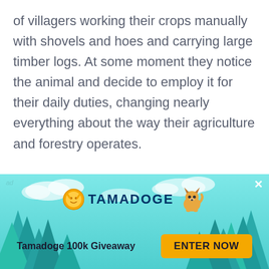of villagers working their crops manually with shovels and hoes and carrying large timber logs. At some moment they notice the animal and decide to employ it for their daily duties, changing nearly everything about the way their agriculture and forestry operates.
This is a very shady metaphor to describe what D1 Coin is and what it can become for investors within several months. Diamond industry is a hidden elephant of the savings and money management market: on personal level each of us understands
[Figure (other): Tamadoge advertisement banner with teal/cyan background, pine tree silhouettes, Tamadoge logo with coin icon and shiba inu dog illustration, 'Tamadoge 100k Giveaway' text and 'ENTER NOW' yellow button]